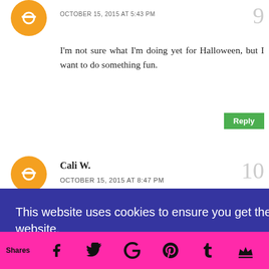[Figure (illustration): Orange circular Blogger avatar icon for comment 9]
OCTOBER 15, 2015 AT 5:43 PM
9
I'm not sure what I'm doing yet for Halloween, but I want to do something fun.
Reply
[Figure (illustration): Orange circular Blogger avatar icon for comment 10]
Cali W.
OCTOBER 15, 2015 AT 8:47 PM
10
es;
Reply
11
This website uses cookies to ensure you get the best experience on our website.
Learn more
Got it!
Shares